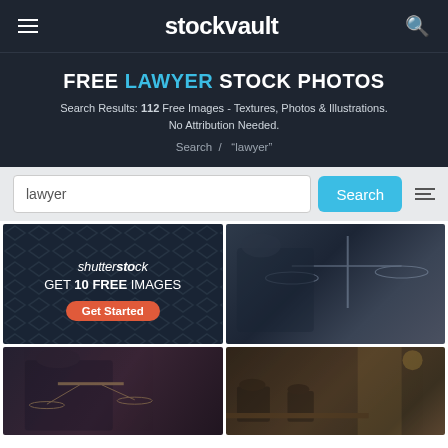stockvault
FREE LAWYER STOCK PHOTOS
Search Results: 112 Free Images - Textures, Photos & Illustrations. No Attribution Needed.
Search / "lawyer"
lawyer [search input]
[Figure (screenshot): Shutterstock advertisement banner with diamond pattern background, text: shutterstock GET 10 FREE IMAGES, Get Started button]
[Figure (photo): Photo of a lawyer at a desk with scales of justice, signing documents]
[Figure (photo): Photo of a lawyer holding scales of justice, dark background]
[Figure (photo): Photo of a courtroom or legal office scene, warm lighting]